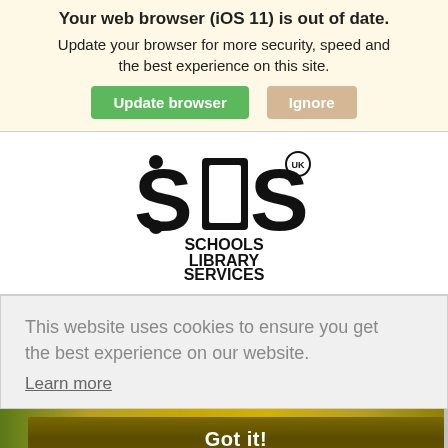Your web browser (iOS 11) is out of date. Update your browser for more security, speed and the best experience on this site.
Update browser | Ignore
[Figure (logo): SLS UK Schools Library Services logo — bold stylized letters SLS with UK superscript, below which reads SCHOOLS LIBRARY SERVICES in bold black type]
This website uses cookies to ensure you get the best experience on our website.
Learn more
Got it!